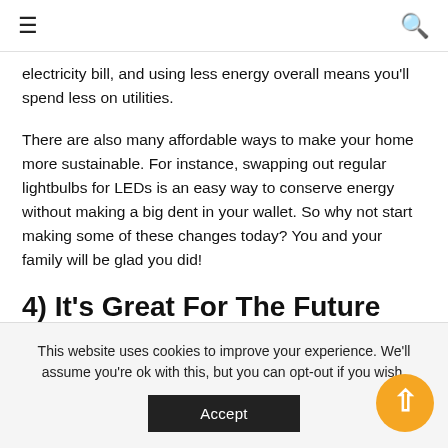☰ [menu] | [search]
electricity bill, and using less energy overall means you'll spend less on utilities.
There are also many affordable ways to make your home more sustainable. For instance, swapping out regular lightbulbs for LEDs is an easy way to conserve energy without making a big dent in your wallet. So why not start making some of these changes today? You and your family will be glad you did!
4) It's Great For The Future
This website uses cookies to improve your experience. We'll assume you're ok with this, but you can opt-out if you wish.